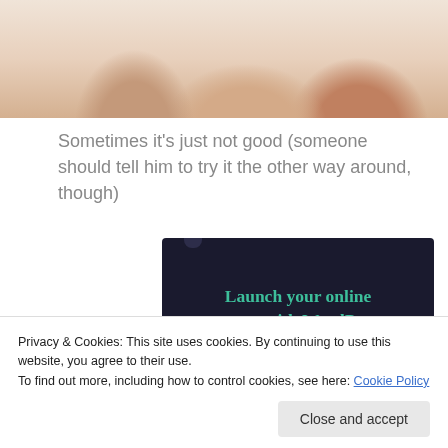[Figure (photo): Close-up photo of hands on a bed/pillow, partially cropped at the top of the page]
Sometimes it's just not good (someone should tell him to try it the other way around, though)
[Figure (illustration): Dark navy advertisement banner reading 'Launch your online course with WordPress' with a teal 'Learn More' button]
Privacy & Cookies: This site uses cookies. By continuing to use this website, you agree to their use.
To find out more, including how to control cookies, see here: Cookie Policy
What the hell just happened?!